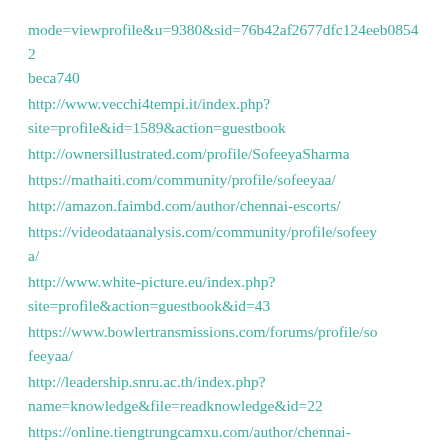mode=viewprofile&u=9380&sid=76b42af2677dfc124eeb08542beca740
http://www.vecchi4tempi.it/index.php?site=profile&id=1589&action=guestbook
http://ownersillustrated.com/profile/SofeeyaSharma
https://mathaiti.com/community/profile/sofeeyaa/
http://amazon.faimbd.com/author/chennai-escorts/
https://videodataanalysis.com/community/profile/sofeeyaa/
http://www.white-picture.eu/index.php?site=profile&action=guestbook&id=43
https://www.bowlertransmissions.com/forums/profile/sofeeyaa/
http://leadership.snru.ac.th/index.php?name=knowledge&file=readknowledge&id=22
https://online.tiengtrungcamxu.com/author/chennai-